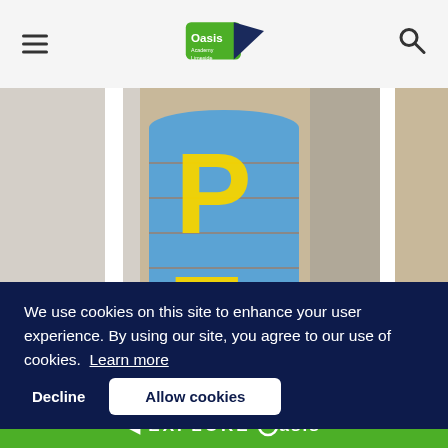Oasis Academy Limeside — navigation header with hamburger menu, logo, and search icon
[Figure (photo): Photo of a cylindrical pillar decorated with blue tiles and large yellow letters 'PE' in a school corridor with grey/beige speckled floor]
We use cookies on this site to enhance your user experience. By using our site, you agree to our use of cookies.  Learn more
Decline
Allow cookies
◄ EXPLORE Oasis